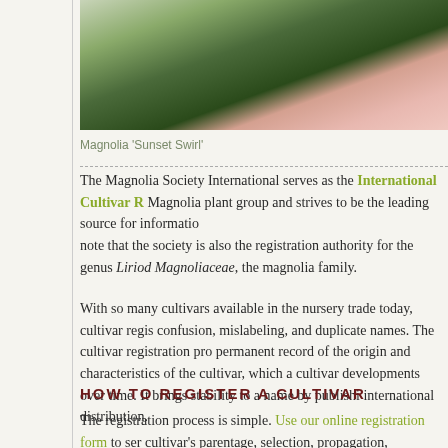[Figure (photo): Close-up photo of a Magnolia 'Sunset Swirl' flower with pink petals and green trees in background, hands visible]
Magnolia 'Sunset Swirl'
The Magnolia Society International serves as the International Cultivar R[egistration Authority for the] Magnolia plant group and strives to be the leading source for information [on magnolias. Please] note that the society is also the registration authority for the genus Liriod[endron and for family] Magnoliaceae, the magnolia family.
With so many cultivars available in the nursery trade today, cultivar regis[tration helps prevent] confusion, mislabeling, and duplicate names. The cultivar registration pro[cess establishes a] permanent record of the origin and characteristics of the cultivar, which a[llows tracking of] cultivar developments over time. It brings stability to a name by publishi[ng information for] international distribution.
HOW TO REGISTER A CULTIVAR
The registration process is simple. Use our online registration form to ser[ve] cultivar's parentage, selection, propagation, introduction, and distinguish[ing characteristics].